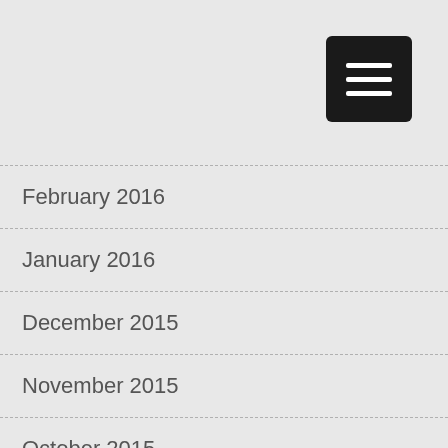[Figure (other): Black rounded square menu button with three horizontal white lines (hamburger icon)]
February 2016
January 2016
December 2015
November 2015
October 2015
September 2015
August 2015
July 2015
June 2015
May 2015